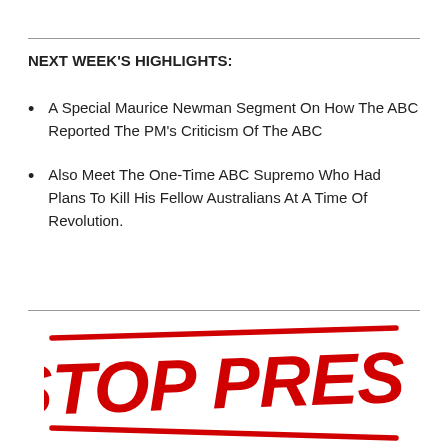NEXT WEEK'S HIGHLIGHTS:
A Special Maurice Newman Segment On How The ABC Reported The PM's Criticism Of The ABC
Also Meet The One-Time ABC Supremo Who Had Plans To Kill His Fellow Australians At A Time Of Revolution.
[Figure (illustration): Red rubber stamp graphic reading STOP PRESS in bold red text with red border lines above and below, tilted slightly]